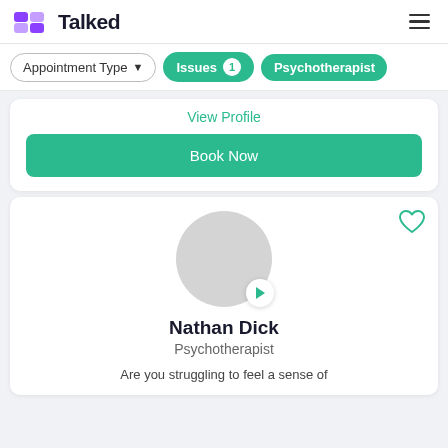Talked
Appointment Type
Issues 1
Psychotherapist
View Profile
Book Now
[Figure (photo): Profile avatar placeholder circle with play button overlay]
Nathan Dick
Psychotherapist
Are you struggling to feel a sense of